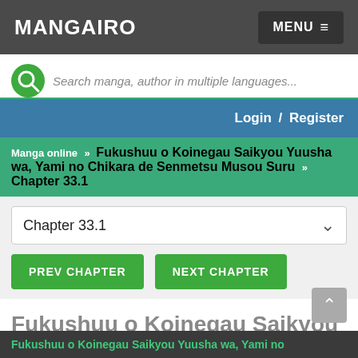MANGAIRO  MENU
Search manga, author in multiple languages...
Login / Register
Manga online » Fukushuu o Koinegau Saikyou Yuusha wa, Yami no Chikara de Senmetsu Musou Suru » Chapter 33.1
Chapter 33.1
PREV CHAPTER
NEXT CHAPTER
Fukushuu o Koinegau Saikyou Yuusha wa, Yami no Chikara de Senmetsu Musou Suru Chapter 33.1
Fukushuu o Koinegau Saikyou Yuusha wa, Yami no